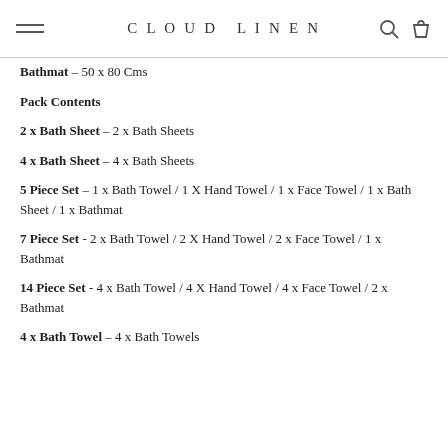CLOUD LINEN
Bathmat – 50 x 80 Cms
Pack Contents
2 x Bath Sheet – 2 x Bath Sheets
4 x Bath Sheet – 4 x Bath Sheets
5 Piece Set – 1 x Bath Towel / 1 X Hand Towel / 1 x Face Towel / 1 x Bath Sheet / 1 x Bathmat
7 Piece Set - 2 x Bath Towel / 2 X Hand Towel / 2 x Face Towel / 1 x Bathmat
14 Piece Set - 4 x Bath Towel / 4 X Hand Towel / 4 x Face Towel / 2 x Bathmat
4 x Bath Towel – 4 x Bath Towels